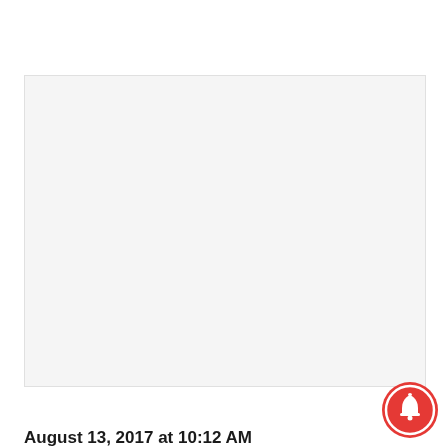[Figure (screenshot): A blank/empty light gray image area, likely a placeholder or blank content region.]
[Figure (other): Red circular notification bell icon in the bottom-right corner of the image area.]
August 13, 2017 at 10:12 AM